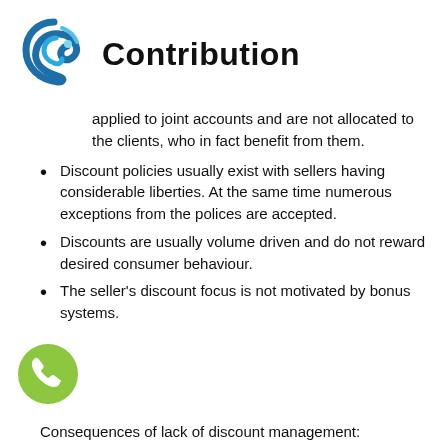Contribution
applied to joint accounts and are not allocated to the clients, who in fact benefit from them.
Discount policies usually exist with sellers having considerable liberties. At the same time numerous exceptions from the polices are accepted.
Discounts are usually volume driven and do not reward desired consumer behaviour.
The seller's discount focus is not motivated by bonus systems.
Consequences of lack of discount management: